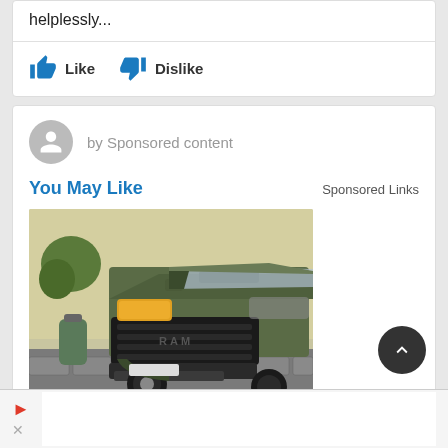helplessly...
Like   Dislike
by Sponsored content
You May Like   Sponsored Links
[Figure (photo): Olive green RAM TRX pickup truck photographed from the front-left angle, parked on a cobblestone surface near a plant.]